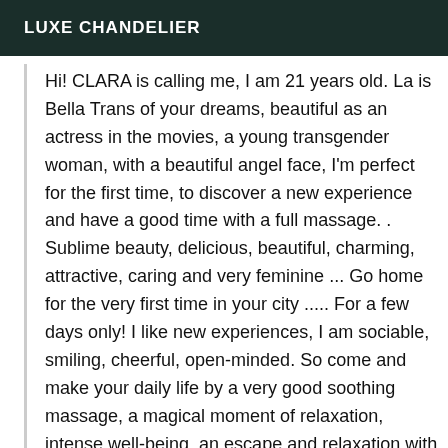LUXE CHANDELIER
Hi! CLARA is calling me, I am 21 years old. La is Bella Trans of your dreams, beautiful as an actress in the movies, a young transgender woman, with a beautiful angel face, I'm perfect for the first time, to discover a new experience and have a good time with a full massage. . Sublime beauty, delicious, beautiful, charming, attractive, caring and very feminine ... Go home for the very first time in your city ..... For a few days only! I like new experiences, I am sociable, smiling, cheerful, open-minded. So come and make your daily life by a very good soothing massage, a magical moment of relaxation, intense well-being, an escape and relaxation with me ... And I invite you to spend special moments, exchanges in the greatest discretion and mutual respect ... And the time spent at my side will be favored !!!! I will meet your expectations, I reserve the polite gentlemen, I am bright eyes of dreams and velvety